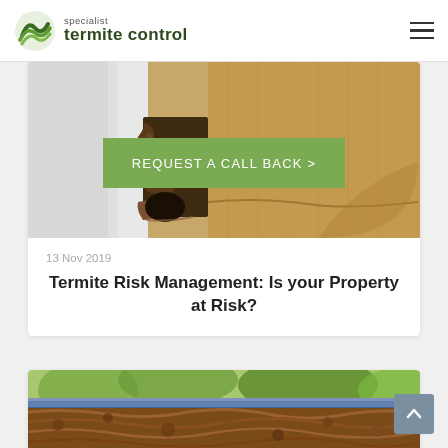specialist termite control
REQUEST A CALL BACK >
[Figure (photo): Close-up photo of termite damage inside a door frame, showing hollowed out timber with termite mud and frass, on a timber floor background]
13 Nov 2019
Termite Risk Management: Is your Property at Risk?
[Figure (photo): Photo of a termite nest or termite-damaged wood surface showing mud tunnels and termite workings, with green foliage visible in background]